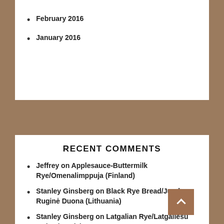February 2016
January 2016
RECENT COMMENTS
Jeffrey on Applesauce-Buttermilk Rye/Omenalimppuja (Finland)
Stanley Ginsberg on Black Rye Bread/Juoda Ruginė Duona (Lithuania)
Stanley Ginsberg on Latgalian Rye/Latgaliešu Maize (Latvia)
Stanley Ginsberg on Black Rye Bread/Juoda Ruginė Duona (Lithuania)